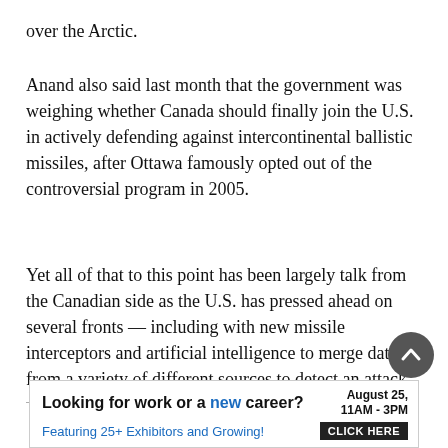over the Arctic.
Anand also said last month that the government was weighing whether Canada should finally join the U.S. in actively defending against intercontinental ballistic missiles, after Ottawa famously opted out of the controversial program in 2005.
Yet all of that to this point has been largely talk from the Canadian side as the U.S. has pressed ahead on several fronts — including with new missile interceptors and artificial intelligence to merge data from a variety of different sources to detect an attack.
— — — — — — — — — — — — — — — — — — — — — —
[Figure (other): Scroll-to-top circular button with upward chevron arrow, dark grey background]
[Figure (other): Advertisement banner: 'Looking for work or a new career? August 25, 11AM - 3PM. Featuring 25+ Exhibitors and Growing! CLICK HERE']